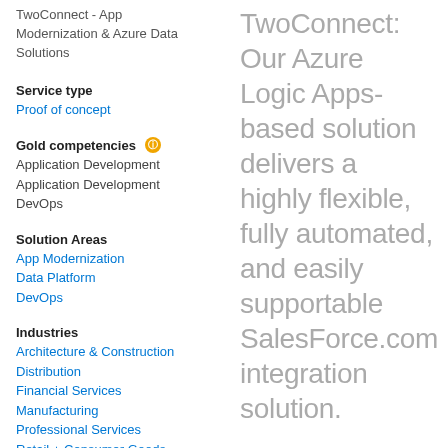TwoConnect - App Modernization & Azure Data Solutions
Service type
Proof of concept
Gold competencies
Application Development
Application Development
DevOps
Solution Areas
App Modernization
Data Platform
DevOps
Industries
Architecture & Construction
Distribution
Financial Services
Manufacturing
Professional Services
Retail + Consumer Goods
Country/Region
United States
States/Provinces
TwoConnect: Our Azure Logic Apps-based solution delivers a highly flexible, fully automated, and easily supportable SalesForce.com integration solution.
Do you find it challenging to integrate Salesforce.com across your Web Apps, Mobile Apps, Logic Apps, and API Apps in a single